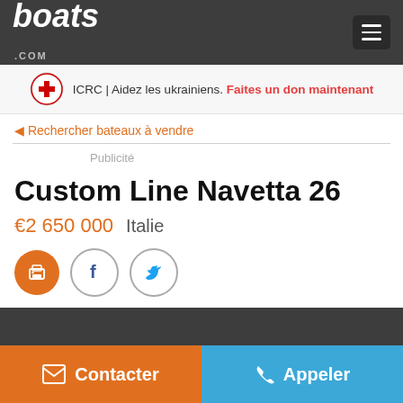boats.com
ICRC | Aidez les ukrainiens. Faites un don maintenant
◄ Rechercher bateaux à vendre
Publicité
Custom Line Navetta 26
€2 650 000   Italie
Contacter   Appeler